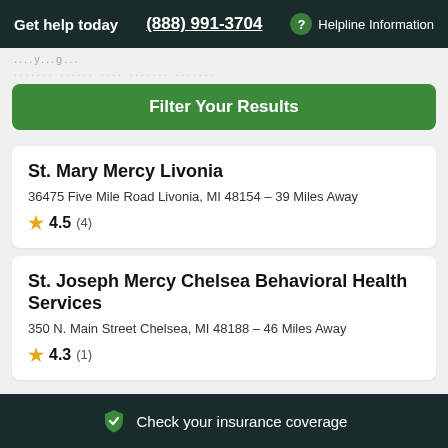Get help today  (888) 991-3704  ? Helpline Information
Filter Your Results
St. Mary Mercy Livonia
36475 Five Mile Road Livonia, MI 48154 - 39 Miles Away
★ 4.5 (4)
St. Joseph Mercy Chelsea Behavioral Health Services
350 N. Main Street Chelsea, MI 48188 - 46 Miles Away
★ 4.3 (1)
Check your insurance coverage